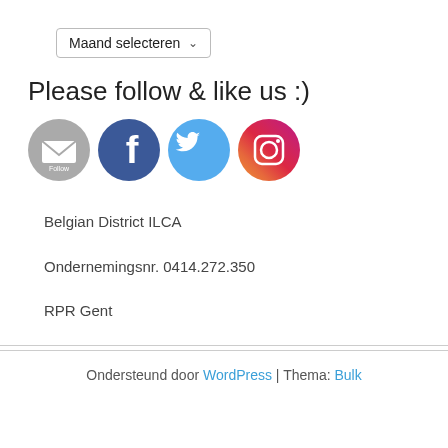[Figure (other): Dropdown widget labeled 'Maand selecteren' with a chevron arrow]
Please follow & like us :)
[Figure (other): Row of four social media icons: Follow (email), Facebook, Twitter, Instagram]
Belgian District ILCA
Ondernemingsnr. 0414.272.350
RPR Gent
Ondersteund door WordPress | Thema: Bulk